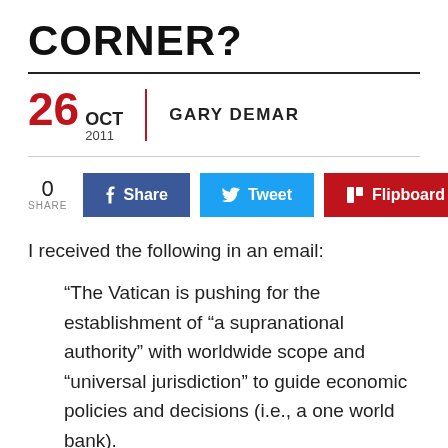CORNER?
26 OCT 2011 | GARY DEMAR
[Figure (infographic): Social share buttons: 0 SHARE, Facebook Share (blue), Tweet (light blue), Flipboard (red)]
I received the following in an email:
“The Vatican is pushing for the establishment of “a supranational authority” with worldwide scope and “universal jurisdiction” to guide economic policies and decisions (i.e., a one world bank).